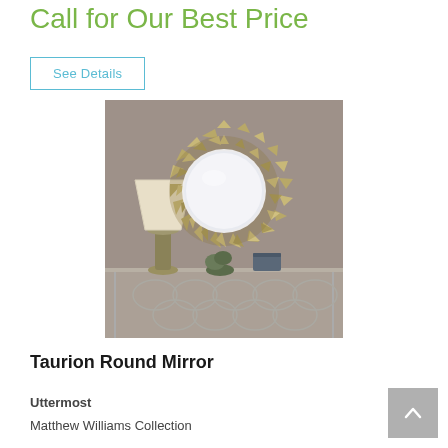Call for Our Best Price
See Details
[Figure (photo): A large decorative round mirror with a sunburst/starburst frame made of metallic gold/brass-toned rectangular modules arranged in concentric rings. The mirror hangs on a gray wall above a metal console table. A table lamp with cream shade and metallic base sits to the left, with a small plant and decorative box on the table surface.]
Taurion Round Mirror
Uttermost
Matthew Williams Collection